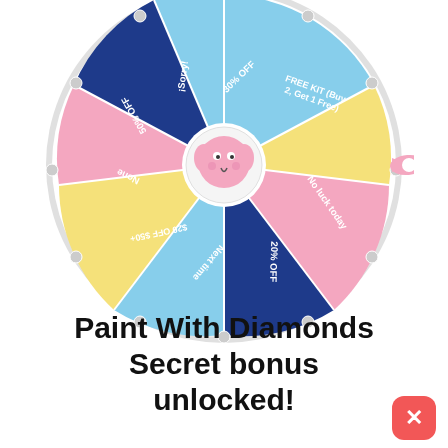[Figure (illustration): A colorful prize spin wheel with segments in blue, pink, yellow, and light blue. Segments are labeled: 30% OFF, FREE KIT (Buy 2, Get 1 Free), No luck today, 20% OFF, Next time, $20 OFF $50+, None, 50% OFF, Sorry!. The wheel pointer is on the right side in pink. A pink elephant cartoon is in the center hub. Small gray pins ring the outer edge.]
Paint With Diamonds Secret bonus unlocked!